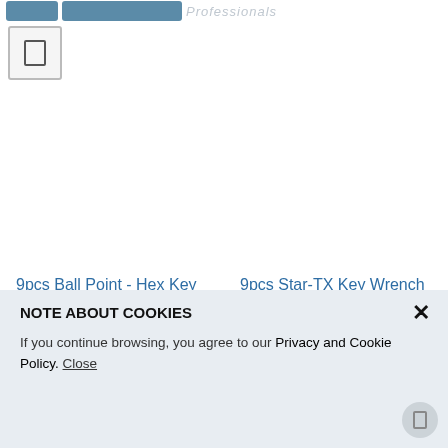Tool-Turs Professionals
[Figure (screenshot): Checkbox UI element, light gray with border]
9pcs Ball Point - Hex Key Wrench Set
9pcs Star-TX Key Wrench Set
[Figure (screenshot): Inquire Now buttons with icon for Ball Point Hex Key Wrench Set]
[Figure (screenshot): Inquire Now buttons with icon for Star-TX Key Wrench Set]
NOTE ABOUT COOKIES

If you continue browsing, you agree to our Privacy and Cookie Policy. Close